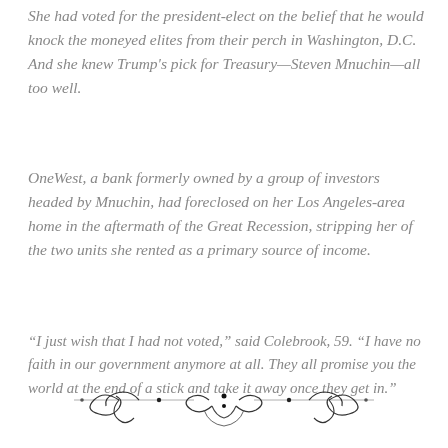She had voted for the president-elect on the belief that he would knock the moneyed elites from their perch in Washington, D.C. And she knew Trump's pick for Treasury—Steven Mnuchin—all too well.
OneWest, a bank formerly owned by a group of investors headed by Mnuchin, had foreclosed on her Los Angeles-area home in the aftermath of the Great Recession, stripping her of the two units she rented as a primary source of income.
“I just wish that I had not voted,” said Colebrook, 59. “I have no faith in our government anymore at all. They all promise you the world at the end of a stick and take it away once they get in.”
[Figure (illustration): Decorative ornamental divider with scrollwork and flourishes]